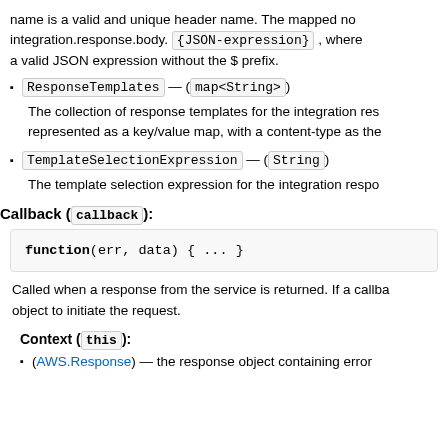name is a valid and unique header name. The mapped no integration.response.body.{JSON-expression}, where a valid JSON expression without the $ prefix.
ResponseTemplates — (map<String>)
The collection of response templates for the integration res represented as a key/value map, with a content-type as the
TemplateSelectionExpression — (String)
The template selection expression for the integration respo
Callback (callback):
function(err, data) { ... }
Called when a response from the service is returned. If a callba object to initiate the request.
Context (this):
(AWS.Response) — the response object containing error